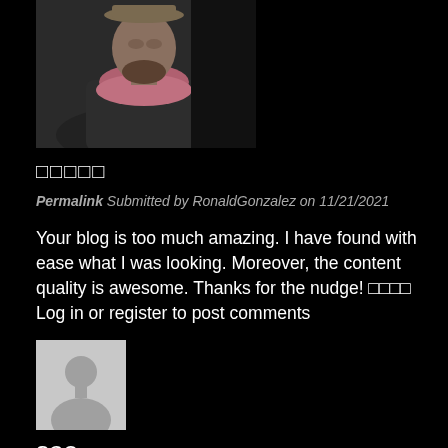[Figure (photo): Profile photo of a bearded man wearing a dark sweater and pink scarf, looking to the side outdoors]
□□□□□
Permalink Submitted by RonaldGonzalez on 11/21/2021
Your blog is too much amazing. I have found with ease what I was looking. Moreover, the content quality is awesome. Thanks for the nudge! □□□□ Log in or register to post comments
[Figure (illustration): Generic grey silhouette avatar placeholder image]
seo